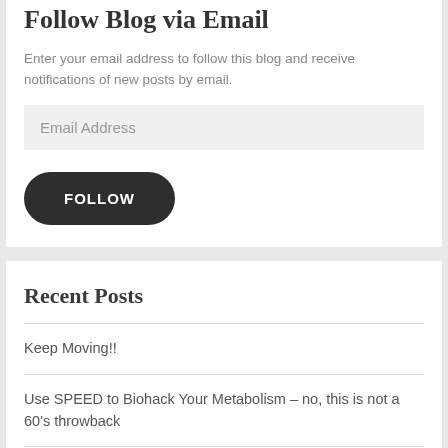Follow Blog via Email
Enter your email address to follow this blog and receive notifications of new posts by email.
Email Address
FOLLOW
Recent Posts
Keep Moving!!
Use SPEED to Biohack Your Metabolism – no, this is not a 60's throwback
Freaking Out Over Eating